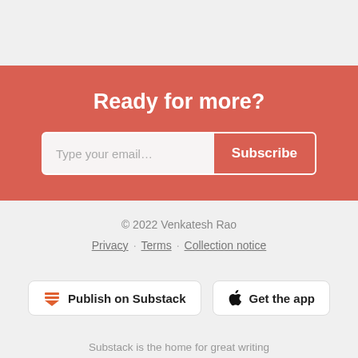Ready for more?
Type your email... Subscribe
© 2022 Venkatesh Rao
Privacy · Terms · Collection notice
Publish on Substack   Get the app
Substack is the home for great writing